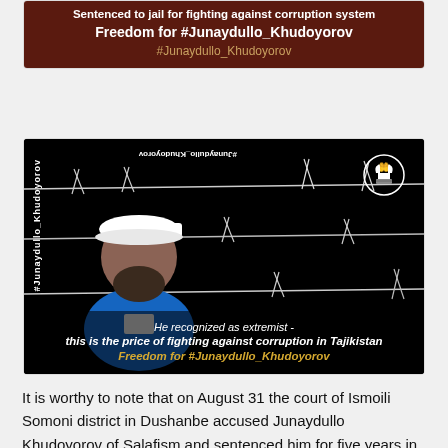[Figure (photo): Dark brown/maroon banner with white bold text 'Sentenced to jail for fighting against corruption system Freedom for #Junaydullo_Khudoyorov' and gold hashtag '#Junaydullo_Khudoyorov']
[Figure (photo): Protest image showing a man with beard and white cap in blue shirt against a background of barbed wire on black. Text overlay reads 'He recognized as extremist - this is the price of fighting against corruption in Tajikistan Freedom for #Junaydullo_Khudoyorov'. Vertical hashtag on left side. Logo top right.]
It is worthy to note that on August 31 the court of Ismoili Somoni district in Dushanbe accused Junaydullo Khudoyorov of Salafism and sentenced him for five years in prison under Criminal Code